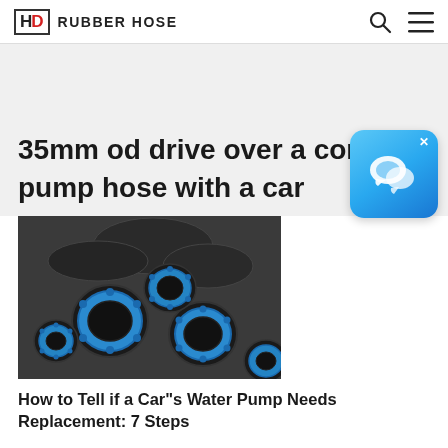HD RUBBER HOSE
35mm od drive over a concrete pump hose with a car
[Figure (photo): Stacked rubber hoses with blue flange ends viewed from the front, showing circular cross-sections with bolt holes]
[Figure (illustration): Blue chat/messaging widget icon with speech bubbles]
How to Tell if a Car"s Water Pump Needs Replacement: 7 Steps